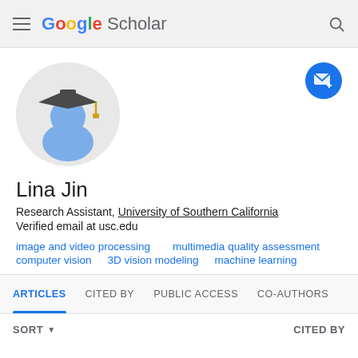Google Scholar
[Figure (illustration): Google Scholar default academic profile avatar: a circular grey background with a blue silhouette of a person wearing a graduation cap with gold tassel]
Lina Jin
Research Assistant, University of Southern California
Verified email at usc.edu
image and video processing
multimedia quality assessment
computer vision
3D vision modeling
machine learning
ARTICLES   CITED BY   PUBLIC ACCESS   CO-AUTHORS
SORT ▾   CITED BY